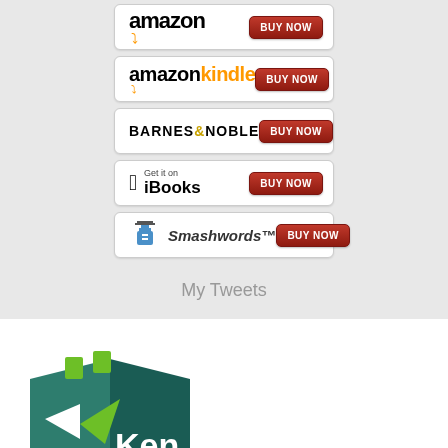[Figure (screenshot): Amazon 'BUY NOW' button]
[Figure (screenshot): Amazon Kindle 'BUY NOW' button]
[Figure (screenshot): Barnes & Noble 'BUY NOW' button]
[Figure (screenshot): Get it on iBooks 'BUY NOW' button]
[Figure (screenshot): Smashwords 'BUY NOW' button]
My Tweets
[Figure (logo): Ken logo - open book with green and teal colors]